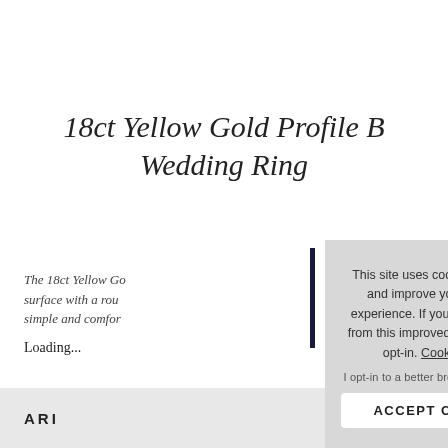18ct Yellow Gold Profile B Wedding Ring
The 18ct Yellow Go... surface with a rou... simple and comfor...
Loading...
This site uses cookies to provide and improve your shopping experience. If you want to benefit from this improved service, please opt-in. Cookies Page.

I opt-in to a better browsing experience

ACCEPT COOKIES
ARI